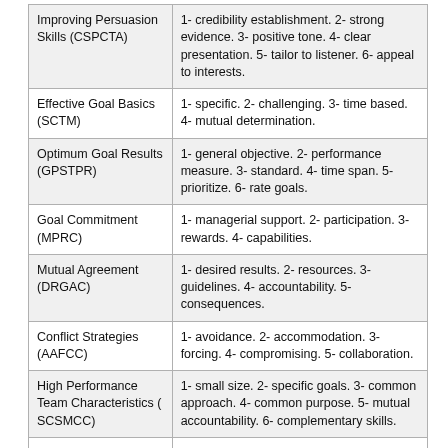| Improving Persuasion Skills (CSPCTA) | 1- credibility establishment. 2- strong evidence. 3- positive tone. 4- clear presentation. 5- tailor to listener. 6- appeal to interests. |
| Effective Goal Basics (SCTM) | 1- specific. 2- challenging. 3- time based. 4- mutual determination. |
| Optimum Goal Results (GPSTPR) | 1- general objective. 2- performance measure. 3- standard. 4- time span. 5- prioritize. 6- rate goals. |
| Goal Commitment (MPRC) | 1- managerial support. 2- participation. 3- rewards. 4- capabilities. |
| Mutual Agreement (DRGAC) | 1- desired results. 2- resources. 3- guidelines. 4- accountability. 5- consequences. |
| Conflict Strategies (AAFCC) | 1- avoidance. 2- accommodation. 3- forcing. 4- compromising. 5- collaboration. |
| High Performance Team Characteristics ( SCSMCC) | 1- small size. 2- specific goals. 3- common approach. 4- common purpose. 5- mutual accountability. 6- complementary skills. |
| Obstacles to | 1- weak direction. 2- infighting. 3- |